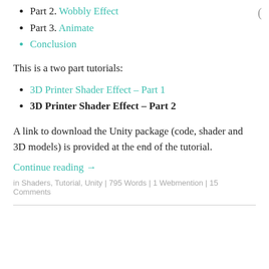Part 2. Wobbly Effect
Part 3. Animate
Conclusion
This is a two part tutorials:
3D Printer Shader Effect – Part 1
3D Printer Shader Effect – Part 2
A link to download the Unity package (code, shader and 3D models) is provided at the end of the tutorial.
Continue reading →
in Shaders, Tutorial, Unity | 795 Words | 1 Webmention | 15 Comments